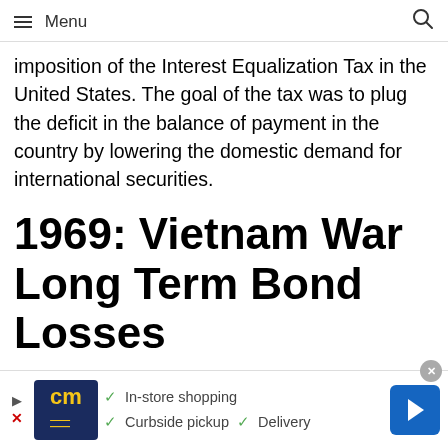Menu
imposition of the Interest Equalization Tax in the United States. The goal of the tax was to plug the deficit in the balance of payment in the country by lowering the domestic demand for international securities.
1969: Vietnam War Long Term Bond Losses
In 1969, the U.S. economy was dealing with rising inflation and interest rate. This was the same time at which the US began to get involved in the
[Figure (other): Advertisement banner: CM store logo with in-store shopping, curbside pickup, and delivery options, with a navigation arrow icon on the right.]